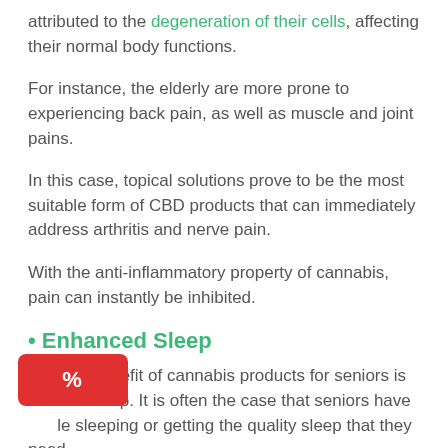attributed to the degeneration of their cells, affecting their normal body functions.
For instance, the elderly are more prone to experiencing back pain, as well as muscle and joint pains.
In this case, topical solutions prove to be the most suitable form of CBD products that can immediately address arthritis and nerve pain.
With the anti-inflammatory property of cannabis, pain can instantly be inhibited.
• Enhanced Sleep
Another benefit of cannabis products for seniors is enhanced sleep. It is often the case that seniors have trouble sleeping or getting the quality sleep that they need.
[Figure (other): Red coupon or discount button with percent sign icon]